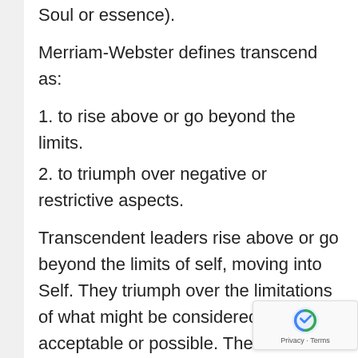Soul or essence).
Merriam-Webster defines transcend as:
1. to rise above or go beyond the limits.
2. to triumph over negative or restrictive aspects.
Transcendent leaders rise above or go beyond the limits of self, moving into Self. They triumph over the limitations of what might be considered acceptable or possible. The small “self” operates from a limiting